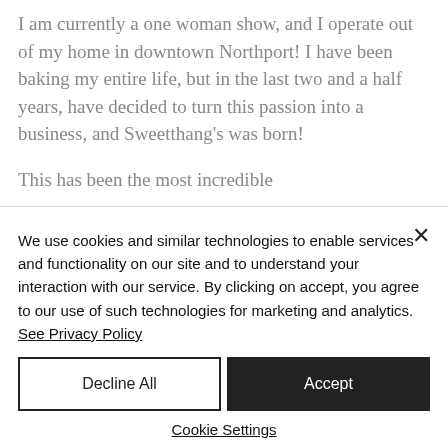I am currently a one woman show, and I operate out of my home in downtown Northport!  I have been baking my entire life, but in the last two and a half years, have decided to turn this passion into a business, and Sweetthang's was born!
This has been the most incredible
We use cookies and similar technologies to enable services and functionality on our site and to understand your interaction with our service. By clicking on accept, you agree to our use of such technologies for marketing and analytics.  See Privacy Policy
Decline All
Accept
Cookie Settings